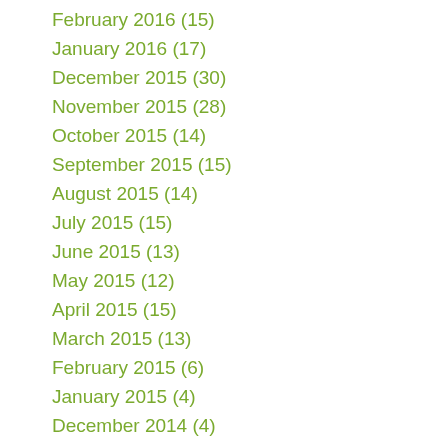February 2016 (15)
January 2016 (17)
December 2015 (30)
November 2015 (28)
October 2015 (14)
September 2015 (15)
August 2015 (14)
July 2015 (15)
June 2015 (13)
May 2015 (12)
April 2015 (15)
March 2015 (13)
February 2015 (6)
January 2015 (4)
December 2014 (4)
November 2014 (4)